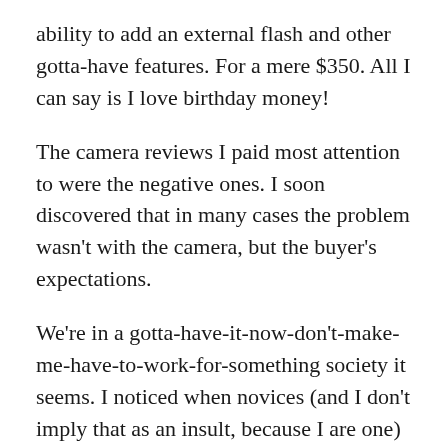ability to add an external flash and other gotta-have features. For a mere $350. All I can say is I love birthday money!
The camera reviews I paid most attention to were the negative ones. I soon discovered that in many cases the problem wasn't with the camera, but the buyer's expectations.
We're in a gotta-have-it-now-don't-make-me-have-to-work-for-something society it seems. I noticed when novices (and I don't imply that as an insult, because I are one) bought one of these prosumer cameras with a slew of manual settings (it'll take months to figure it out myself) they expected it to act like a simpler point-and-shoot.
Not every camera will take the same kind of pictures, and two different people using the same camera with the same settings will never take the exact same picture.